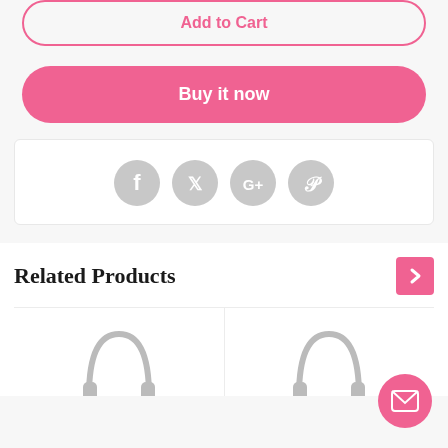[Figure (screenshot): Add to Cart button - outline style with pink border and pink text]
[Figure (screenshot): Buy it now button - solid pink background with white text]
[Figure (screenshot): Social sharing icons: Facebook, Twitter, Google+, Pinterest - all in light grey circles]
Related Products
[Figure (screenshot): Arrow navigation button pointing right in pink]
[Figure (screenshot): Product thumbnail images row - two partial product images visible at bottom]
[Figure (screenshot): Email/contact floating action button in pink at bottom right]